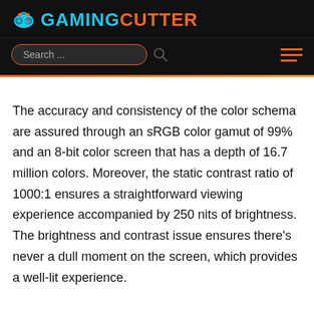[Figure (logo): GamingCutter logo with game controller icon in blue/cyan and text 'GAMING' in cyan and 'CUTTER' in orange on black background]
Search ...
The accuracy and consistency of the color schema are assured through an sRGB color gamut of 99% and an 8-bit color screen that has a depth of 16.7 million colors. Moreover, the static contrast ratio of 1000:1 ensures a straightforward viewing experience accompanied by 250 nits of brightness. The brightness and contrast issue ensures there's never a dull moment on the screen, which provides a well-lit experience.